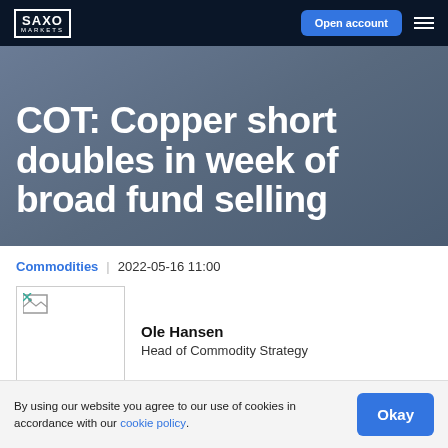SAXO MARKETS | Open account
COT: Copper short doubles in week of broad fund selling
Commodities | 2022-05-16 11:00
[Figure (photo): Author photo placeholder (broken image) for Ole Hansen]
Ole Hansen
Head of Commodity Strategy
By using our website you agree to our use of cookies in accordance with our cookie policy.